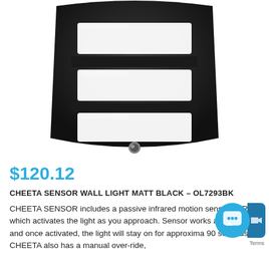[Figure (photo): Black wall-mounted sensor light fixture (CHEETA SENSOR WALL LIGHT MATT BLACK - OL7293BK) with three horizontal white frosted glass panels and a PIR motion sensor at the bottom center, shown on white background.]
$120.12
CHEETA SENSOR WALL LIGHT MATT BLACK – OL7293BK
CHEETA SENSOR includes a passive infrared motion sensor (PIR) which activates the light as you approach. Sensor works after dark and once activated, the light will stay on for approximately 90 seconds. CHEETA also has a manual over-ride,